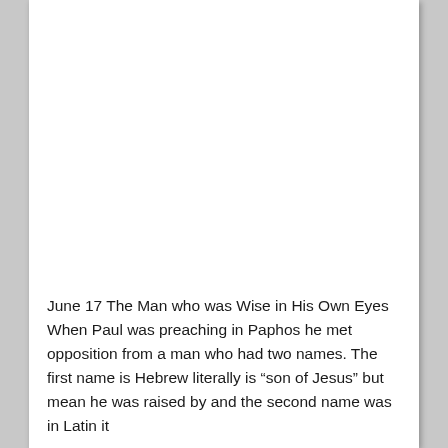June 17 The Man who was Wise in His Own Eyes When Paul was preaching in Paphos he met opposition from a man who had two names. The first name is Hebrew literally is “son of Jesus” but mean he was raised by and the second name was in Latin it